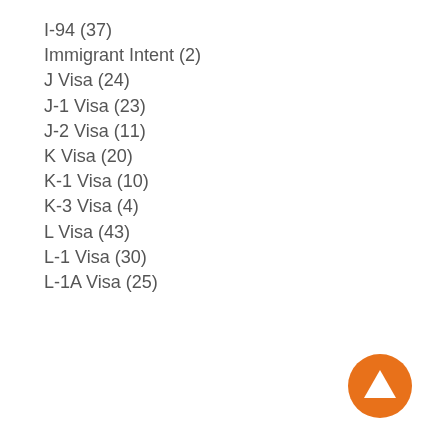I-94 (37)
Immigrant Intent (2)
J Visa (24)
J-1 Visa (23)
J-2 Visa (11)
K Visa (20)
K-1 Visa (10)
K-3 Visa (4)
L Visa (43)
L-1 Visa (30)
L-1A Visa (25)
[Figure (illustration): Orange circular button with upward-pointing triangle (back to top button)]